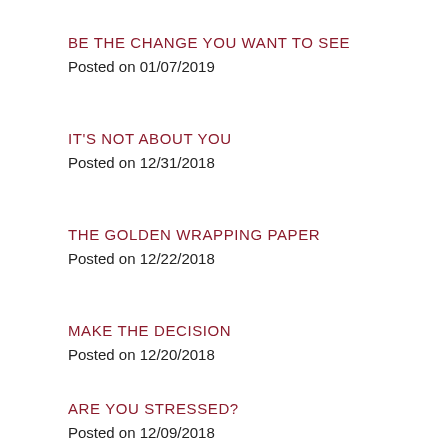BE THE CHANGE YOU WANT TO SEE
Posted on 01/07/2019
IT'S NOT ABOUT YOU
Posted on 12/31/2018
THE GOLDEN WRAPPING PAPER
Posted on 12/22/2018
MAKE THE DECISION
Posted on 12/20/2018
ARE YOU STRESSED?
Posted on 12/09/2018